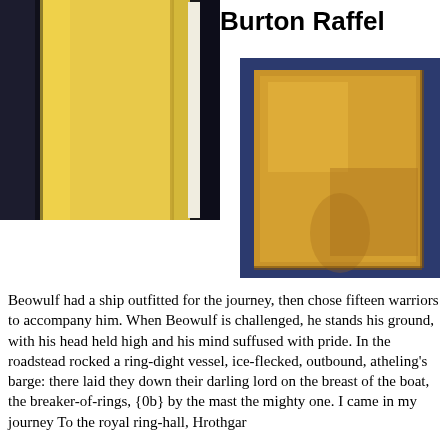Burton Raffel
[Figure (photo): Photo of a yellow book standing upright showing its spine, against a dark background. The spine text reads 'MASSACHUSETTS' vertically.]
[Figure (photo): Photo of a gold/yellow book cover against a dark blue background.]
Beowulf had a ship outfitted for the journey, then chose fifteen warriors to accompany him. When Beowulf is challenged, he stands his ground, with his head held high and his mind suffused with pride. In the roadstead rocked a ring-dight vessel, ice-flecked, outbound, atheling's barge: there laid they down their darling lord on the breast of the boat, the breaker-of-rings, {0b} by the mast the mighty one. I came in my journey To the royal ring-hall, Hrothgar